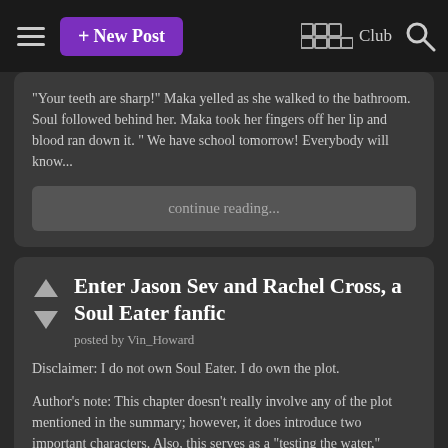+ New Post   ◫◫◫ ◫◫◫◫◫ Club 🔍
"Your teeth are sharp!" Maka yelled as she walked to the bathroom. Soul followed behind her. Maka took her fingers off her lip and blood ran down it. " We have school tomorrow! Everybody will know...
continue reading...
Enter Jason Sev and Rachel Cross, a Soul Eater fanfic
posted by Vin_Howard
Disclaimer: I do not own Soul Eater. I do own the plot.
Author's note: This chapter doesn't really involve any of the plot mentioned in the summary; however, it does introduce two important characters. Also, this serves as a "testing the water," before I get into the main work.
Chapter 1: Enter Jason Sev and Rachel Cross
"Name's Jason Sev, meister. 🔲🔲🔲🔲 have probably heard of me, 🔲🔲🔲🔲 of the N.O.T. class at the Death Weapon Meister Academy. Prepare yourself for my